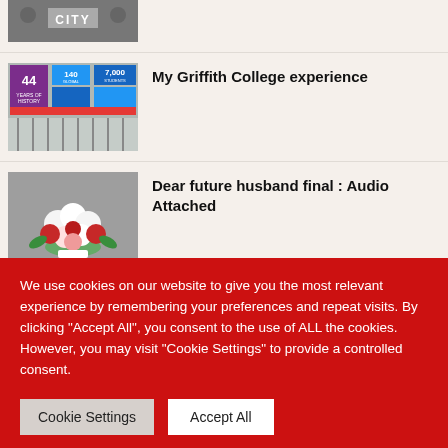[Figure (photo): Partial thumbnail of black and white city image cropped at top]
[Figure (photo): Griffith College banner sign with colorful squares showing '140 Global', '7,000 Students', '44 Years of History', and '80 Global Alumni']
My Griffith College experience
[Figure (photo): Bouquet of red and white roses on gray fabric background]
Dear future husband final : Audio Attached
[Figure (photo): Partial thumbnail of a colorful image partially visible]
From Law to Media: A podcast with Tolu
We use cookies on our website to give you the most relevant experience by remembering your preferences and repeat visits. By clicking "Accept All", you consent to the use of ALL the cookies. However, you may visit "Cookie Settings" to provide a controlled consent.